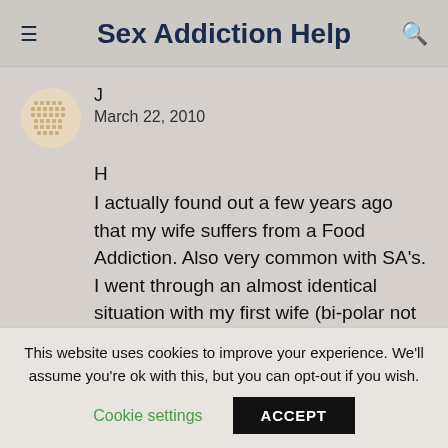Sex Addiction Help
J
March 22, 2010
H
I actually found out a few years ago that my wife suffers from a Food Addiction. Also very common with SA's. I went through an almost identical situation with my first wife (bi-polar not FA). I didn't seek therapy and handled her betrayals
This website uses cookies to improve your experience. We'll assume you're ok with this, but you can opt-out if you wish.
Cookie settings   ACCEPT